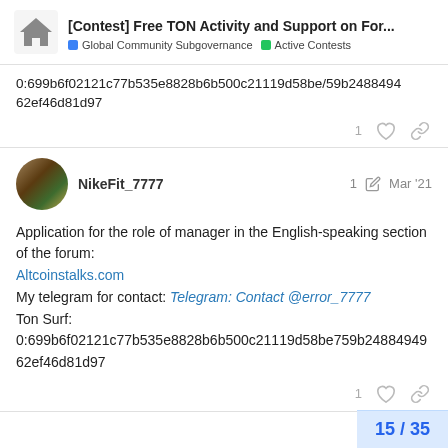[Contest] Free TON Activity and Support on For... | Global Community Subgovernance | Active Contests
0:699b6f02121c77b535e8828b6b500c21119d58be/59b2488494962ef46d81d97
1
NikeFit_7777 1 Mar '21
Application for the role of manager in the English-speaking section of the forum:
Altcoinstalks.com
My telegram for contact: Telegram: Contact @error_7777
Ton Surf:
0:699b6f02121c77b535e8828b6b500c21119d58be759b2488494962ef46d81d97
1
15 / 35